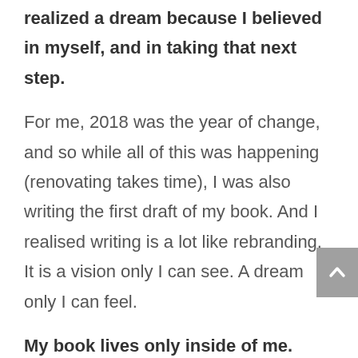realized a dream because I believed in myself, and in taking that next step.
For me, 2018 was the year of change, and so while all of this was happening (renovating takes time), I was also writing the first draft of my book. And I realised writing is a lot like rebranding. It is a vision only I can see. A dream only I can feel.
My book lives only inside of me. Inside my soul. There are characters who slowly reveal themselves to me as I begin to trust my vision, my words. But this book requires tenacity, effort and persistence. Bravery. It requires that I put in the work. It demands